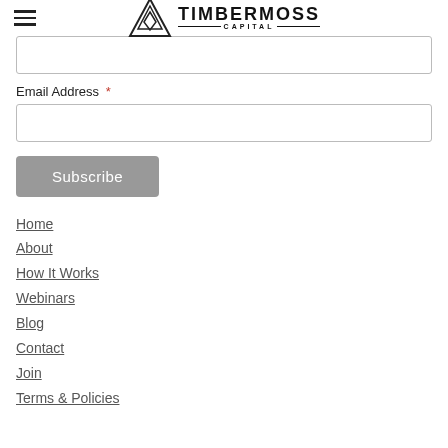TIMBERMOSS CAPITAL
Email Address *
Subscribe
Home
About
How It Works
Webinars
Blog
Contact
Join
Terms & Policies